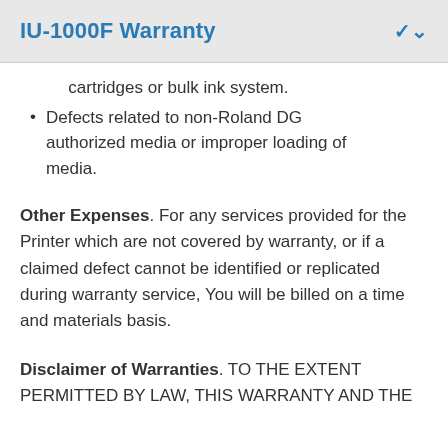IU-1000F Warranty
cartridges or bulk ink system.
Defects related to non-Roland DG authorized media or improper loading of media.
Other Expenses. For any services provided for the Printer which are not covered by warranty, or if a claimed defect cannot be identified or replicated during warranty service, You will be billed on a time and materials basis.
Disclaimer of Warranties. TO THE EXTENT PERMITTED BY LAW, THIS WARRANTY AND THE